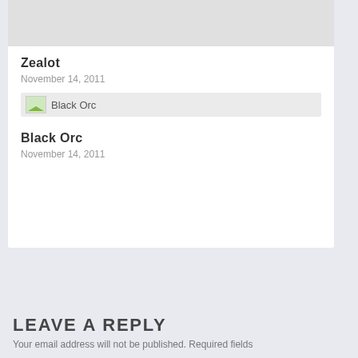[Figure (photo): Gray placeholder image at top of white card]
Zealot
November 14, 2011
[Figure (photo): Avatar image row with broken image icon and label 'Black Orc' on gray background]
Black Orc
November 14, 2011
LEAVE A REPLY
Your email address will not be published. Required fields